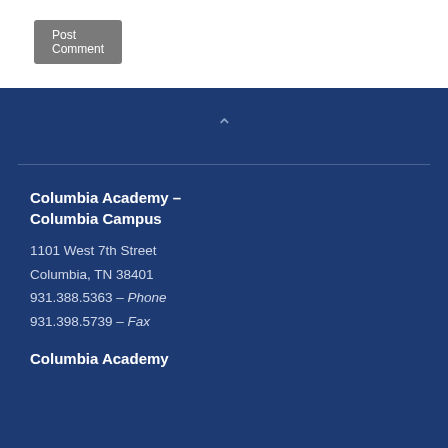Post Comment
Columbia Academy – Columbia Campus
1101 West 7th Street
Columbia, TN 38401
931.388.5363 – Phone
931.398.5739 – Fax
Columbia Academy